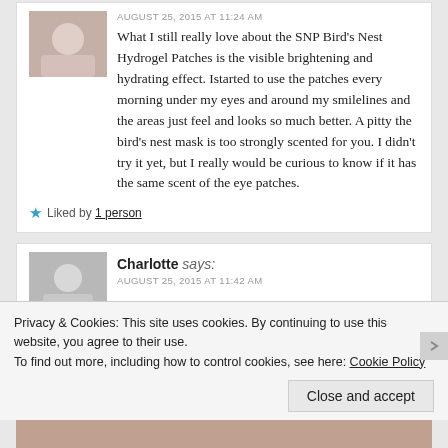AUGUST 25, 2015 AT 11:24 AM
What I still really love about the SNP Bird's Nest Hydrogel Patches is the visible brightening and hydrating effect. Istarted to use the patches every morning under my eyes and around my smilelines and the areas just feel and looks so much better. A pitty the bird's nest mask is too strongly scented for you. I didn't try it yet, but I really would be curious to know if it has the same scent of the eye patches.
★ Liked by 1 person
Charlotte says:
Privacy & Cookies: This site uses cookies. By continuing to use this website, you agree to their use.
To find out more, including how to control cookies, see here: Cookie Policy
Close and accept